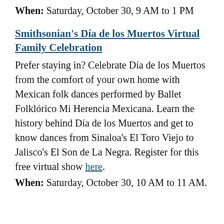When: Saturday, October 30, 9 AM to 1 PM
Smithsonian's Día de los Muertos Virtual Family Celebration
Prefer staying in? Celebrate Día de los Muertos from the comfort of your own home with Mexican folk dances performed by Ballet Folklórico Mi Herencia Mexicana. Learn the history behind Día de los Muertos and get to know dances from Sinaloa's El Toro Viejo to Jalisco's El Son de La Negra. Register for this free virtual show here.
When: Saturday, October 30, 10 AM to 11 AM.